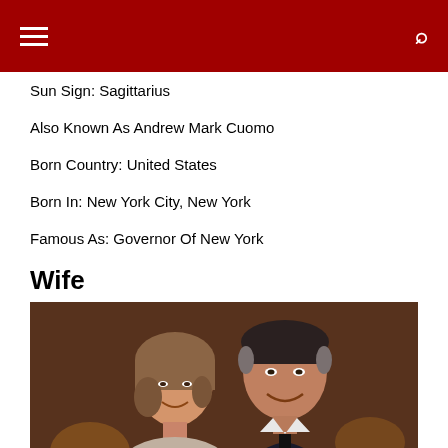navigation bar with hamburger menu and search icon
Sun Sign: Sagittarius
Also Known As Andrew Mark Cuomo
Born Country: United States
Born In: New York City, New York
Famous As: Governor Of New York
Wife
[Figure (photo): A man and woman smiling at a formal event, indoor setting with warm lighting]